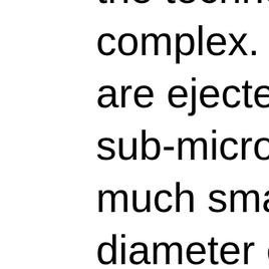the technology is very complex. The dots that are ejected are typically sub-micron size, which is much smaller than the diameter of a human hair (70 microns);  one square meter of print contains over 20 billion droplets! [3] They need to be positioned very precisely to achieve resolutions as fine as 1440 x 1440 dots per inch (dpi).  Since the inks used must be very fluid so as to not clog the printheads, nanotechnology is a huge part of the ink development.  In fact, according to Xennia, a world leader in digital printing inks, “microfluidic deposition